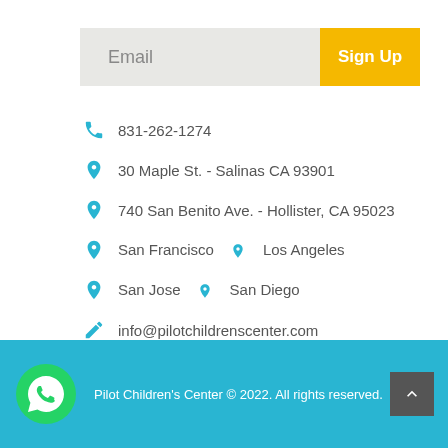Email
Sign Up
831-262-1274
30 Maple St. - Salinas CA 93901
740 San Benito Ave. - Hollister, CA 95023
San Francisco   Los Angeles
San Jose   San Diego
info@pilotchildrenscenter.com
Pilot Children's Center © 2022. All rights reserved.